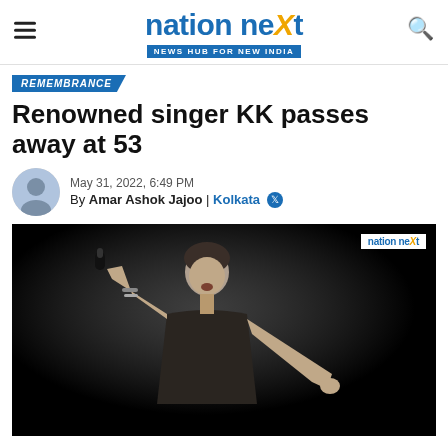nation next — NEWS HUB FOR NEW INDIA
REMEMBRANCE
Renowned singer KK passes away at 53
May 31, 2022, 6:49 PM
By Amar Ashok Jajoo | Kolkata
[Figure (photo): Black and white photo of singer KK performing on stage, holding a microphone and singing passionately with one hand raised. The background is dark.]